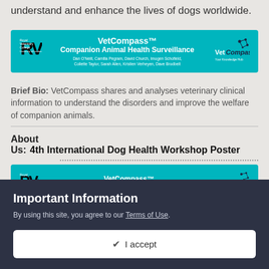understand and enhance the lives of dogs worldwide.
[Figure (other): VetCompass Companion Animal Health Surveillance banner with Royal Veterinary College logo and author names: Dan O'Neill, Camilla Pegram, David Church, Imogen Schofield, Collette Taylor, Sarah Allen, Kristien Verheyen, Dave Brodbelt]
Brief Bio: VetCompass shares and analyses veterinary clinical information to understand the disorders and improve the welfare of companion animals.
About Us: 4th International Dog Health Workshop Poster
[Figure (other): Partial second VetCompass banner - cropped showing Royal and Companion Animal Health Surveillance text]
Important Information
By using this site, you agree to our Terms of Use.
✔ I accept